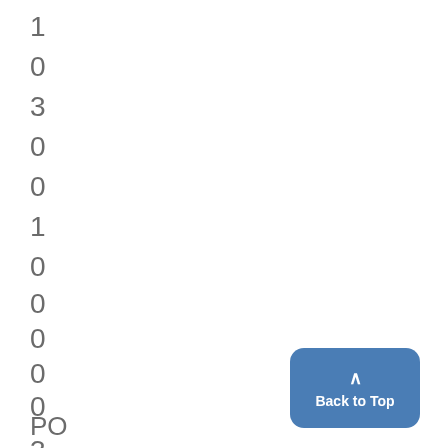1
0
3
0
0
1
0
0
0
0
0
PO
3
[Figure (other): Back to Top button with upward arrow chevron, blue rounded rectangle]